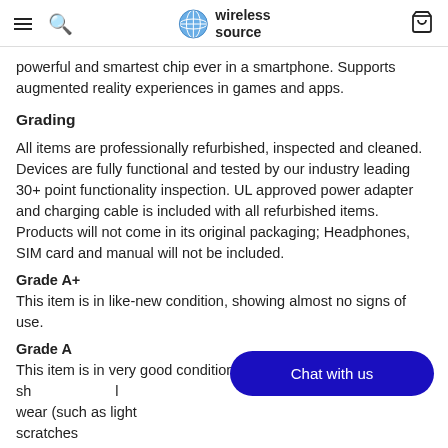wireless source
powerful and smartest chip ever in a smartphone. Supports augmented reality experiences in games and apps.
Grading
All items are professionally refurbished, inspected and cleaned. Devices are fully functional and tested by our industry leading 30+ point functionality inspection. UL approved power adapter and charging cable is included with all refurbished items. Products will not come in its original packaging; Headphones, SIM card and manual will not be included.
Grade A+
This item is in like-new condition, showing almost no signs of use.
Grade A
This item is in very good condition, and shows minimal wear (such as light scratches
Grade B